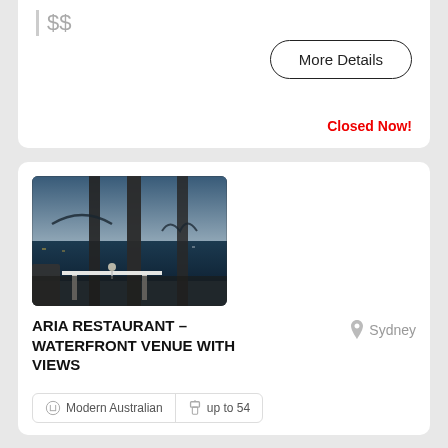$$
More Details
Closed Now!
[Figure (photo): Interior of Aria Restaurant showing dining tables set with white tablecloths, floor-to-ceiling windows with a waterfront view including a bridge and the Sydney Opera House at dusk]
ARIA RESTAURANT – WATERFRONT VENUE WITH VIEWS
Sydney
Modern Australian
up to 54